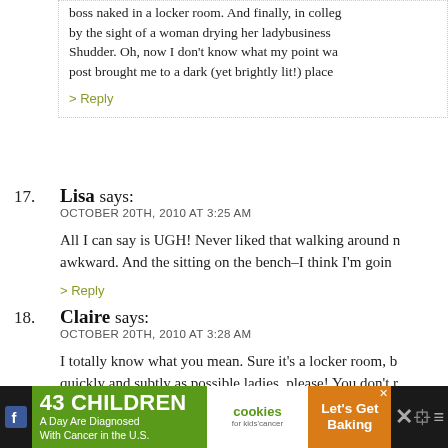boss naked in a locker room. And finally, in colleg by the sight of a woman drying her ladybusiness Shudder. Oh, now I don't know what my point wa post brought me to a dark (yet brightly lit!) place
> Reply
17. Lisa says: OCTOBER 20TH, 2010 AT 3:25 AM — All I can say is UGH! Never liked that walking around n awkward. And the sitting on the bench–I think I'm goin > Reply
18. Claire says: OCTOBER 20TH, 2010 AT 3:28 AM — I totally know what you mean. Sure it's a locker room, b quickly and subtly as possible ladies, please! You don't r your bits around. I also have a problem being comfortabl weather with my boo ha on display!
[Figure (infographic): Advertisement banner: '43 CHILDREN A Day Are Diagnosed With Cancer in the U.S.' with cookies for kids cancer logo and 'Let's Get Baking' text on orange background. Social media icons on dark background.]